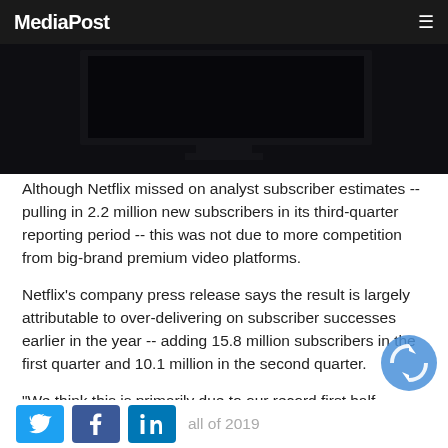MediaPost
[Figure (photo): Dark television screen on a stand against a dark background]
Although Netflix missed on analyst subscriber estimates -- pulling in 2.2 million new subscribers in its third-quarter reporting period -- this was not due to more competition from big-brand premium video platforms.
Netflix’s company press release says the result is largely attributable to over-delivering on subscriber successes earlier in the year -- adding 15.8 million subscribers in the first quarter and 10.1 million in the second quarter.
“We think this is primarily due to our record first half results… In the first nine months of 2020, we added 28.1 million paid memberships, which exceeds the 27.8 million
all of 2019